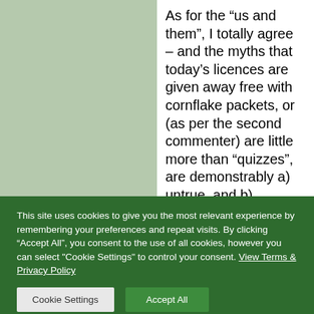As for the “us and them”, I totally agree – and the myths that today’s licences are given away free with cornflake packets, or (as per the second commenter) are little more than “quizzes”, are demonstrably a) untrue, and b) damaging. If a side-effect of this article is that it helps to debunk these
This site uses cookies to give you the most relevant experience by remembering your preferences and repeat visits. By clicking “Accept All”, you consent to the use of all cookies, however you can select "Cookie Settings" to control your consent. View Terms & Privacy Policy